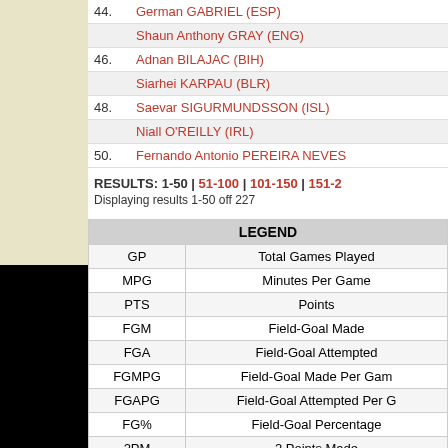| # | Player |
| --- | --- |
| 44. | German GABRIEL (ESP) |
|  | Shaun Anthony GRAY (ENG) |
| 46. | Adnan BILAJAC (BIH) |
|  | Siarhei KARPAU (BLR) |
| 48. | Saevar SIGURMUNDSSON (ISL) |
|  | Niall O'REILLY (IRL) |
| 50. | Fernando Antonio PEREIRA NEVES |
RESULTS: 1-50 | 51-100 | 101-150 | 151-2...
Displaying results 1-50 off 227
| LEGEND |  |
| --- | --- |
| GP | Total Games Played |
| MPG | Minutes Per Game |
| PTS | Points |
| FGM | Field-Goal Made |
| FGA | Field-Goal Attempted |
| FGMPG | Field-Goal Made Per Game |
| FGAPG | Field-Goal Attempted Per Game |
| FG% | Field-Goal Percentage |
| 2PM | 2 Points Made |
| 2PA | 2 Points Attempted |
| 2P% | 2 Points Percentage |
| 3PM | 3 Points Made |